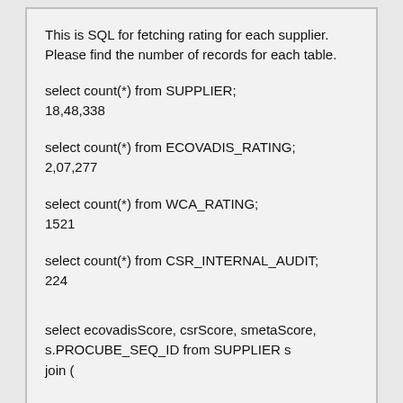This is SQL for fetching rating for each supplier. Please find the number of records for each table.
select count(*) from SUPPLIER;
18,48,338
select count(*) from ECOVADIS_RATING;
2,07,277
select count(*) from WCA_RATING;
1521
select count(*) from CSR_INTERNAL_AUDIT;
224
select ecovadisScore, csrScore, smetaScore,
s.PROCUBE_SEQ_ID from SUPPLIER s
join (